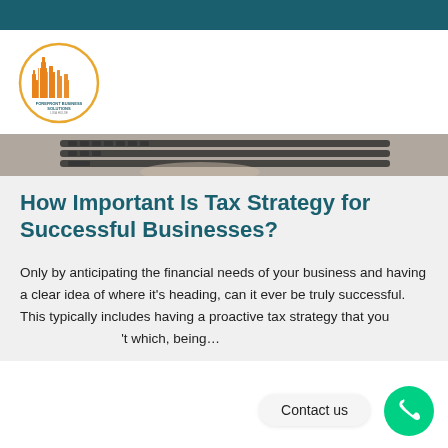[Figure (logo): Forefront Business Solutions circular logo with orange building icon]
[Figure (photo): Close-up photo of a laptop keyboard, partially visible at top of content area]
How Important Is Tax Strategy for Successful Businesses?
Only by anticipating the financial needs of your business and having a clear idea of where it's heading, can it ever be truly successful. This typically includes having a proactive tax strategy that you ... which, being...